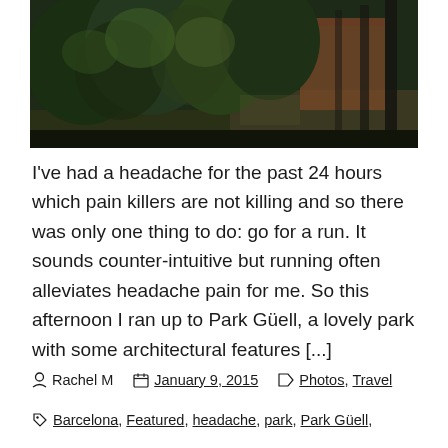[Figure (photo): Outdoor park scene with dark green trees and foliage, a reddish-brown building visible in the background, and palm trees on the right side. Dark moody lighting.]
I've had a headache for the past 24 hours which pain killers are not killing and so there was only one thing to do: go for a run. It sounds counter-intuitive but running often alleviates headache pain for me. So this afternoon I ran up to Park Güell, a lovely park with some architectural features [...]
Rachel M   January 9, 2015   Photos, Travel
Barcelona, Featured, headache, park, Park Güell,